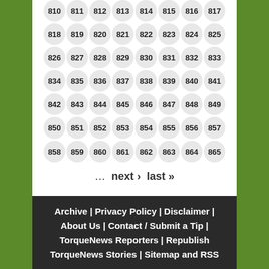810 811 812 813 814 815 816 817 (partial, top)
818 819 820 821 822 823 824 825
826 827 828 829 830 831 832 833
834 835 836 837 838 839 840 841
842 843 844 845 846 847 848 849
850 851 852 853 854 855 856 857
858 859 860 861 862 863 864 865
... next › last »
Archive | Privacy Policy | Disclaimer | About Us | Contact / Submit a Tip | TorqueNews Reporters | Republish TorqueNews Stories | Sitemap and RSS
Torque News is an automotive news provider by Hareyan Publishing, LLC, dedicated to covering the latest news, reviews and opinions about the car industry. Our professional team of reporters have many years of experience covering the